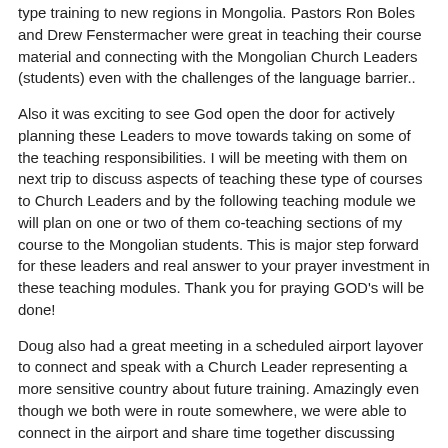type training to new regions in Mongolia. Pastors Ron Boles and Drew Fenstermacher were great in teaching their course material and connecting with the Mongolian Church Leaders (students) even with the challenges of the language barrier..
Also it was exciting to see God open the door for actively planning these Leaders to move towards taking on some of the teaching responsibilities. I will be meeting with them on next trip to discuss aspects of teaching these type of courses to Church Leaders and by the following teaching module we will plan on one or two of them co-teaching sections of my course to the Mongolian students. This is major step forward for these leaders and real answer to your prayer investment in these teaching modules. Thank you for praying GOD's will be done!
Doug also had a great meeting in a scheduled airport layover to connect and speak with a Church Leader representing a more sensitive country about future training. Amazingly even though we both were in route somewhere, we were able to connect in the airport and share time together discussing what God might open up for us to work together.